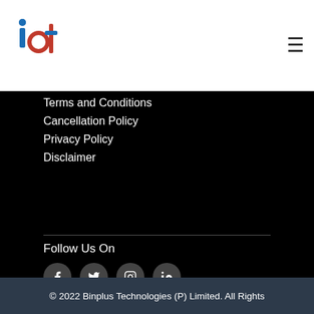[Figure (logo): ICT logo with letters in blue and red]
Terms and Conditions
Cancellation Policy
Privacy Policy
Disclaimer
Follow Us On
[Figure (infographic): Social media icons: Facebook, Twitter, Instagram, LinkedIn]
[Figure (infographic): Payment method logos: Google Pay, PhonePe, VISA Mastercard]
© 2022 Binplus Technologies (P) Limited. All Rights